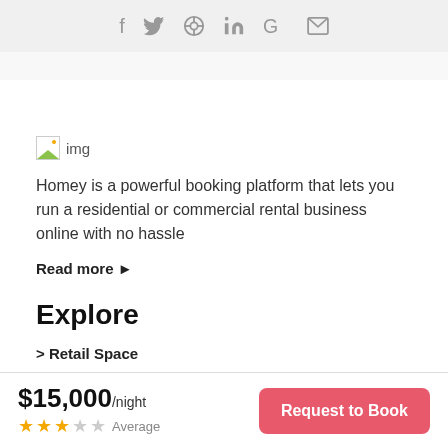f  ❧  ⊕  in  G  ✉
[Figure (illustration): Broken image placeholder showing 'img' text with small image icon]
Homey is a powerful booking platform that lets you run a residential or commercial rental business online with no hassle
Read more ▶
Explore
> Retail Space
$15,000/night ★★★☆☆ Average  Request to Book